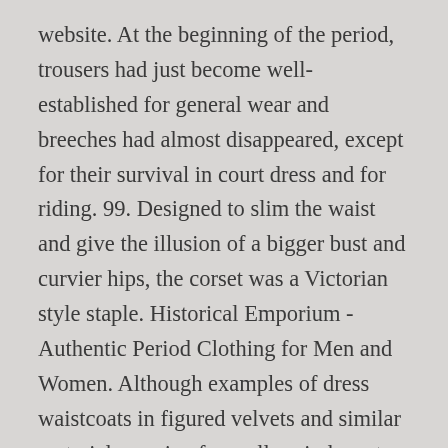website. At the beginning of the period, trousers had just become well-established for general wear and breeches had almost disappeared, except for their survival in court dress and for riding. 99. Designed to slim the waist and give the illusion of a bigger bust and curvier hips, the corset was a Victorian style staple. Historical Emporium - Authentic Period Clothing for Men and Women. Although examples of dress waistcoats in figured velvets and similar materials survive from all periods up to the last years of the century, there was, after 1860, much less use of silk, particularly for daytime wear, and even when waistcoats did not match the cloth of coat, and there was then no set of six